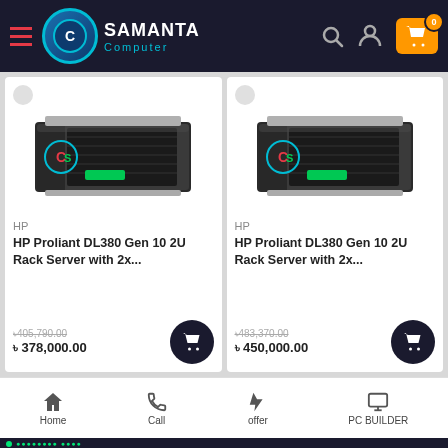Samanta Computer - navigation bar
[Figure (screenshot): HP Proliant DL380 Gen 10 2U Rack Server product image - left card]
HP
HP Proliant DL380 Gen 10 2U Rack Server with 2x...
৳405,790.00 (strikethrough original price)
৳ 378,000.00
[Figure (screenshot): HP Proliant DL380 Gen 10 2U Rack Server product image - right card]
HP
HP Proliant DL380 Gen 10 2U Rack Server with 2x...
৳483,370.00 (strikethrough original price)
৳ 450,000.00
Home | Call | offer | PC BUILDER